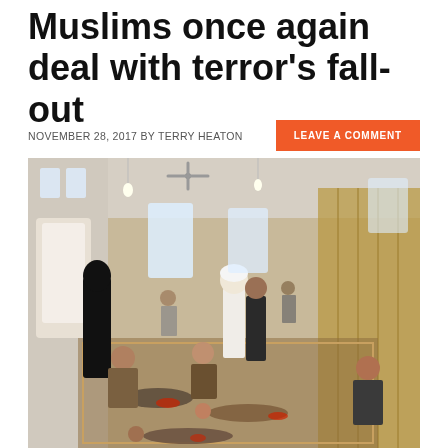Muslims once again deal with terror's fall-out
NOVEMBER 28, 2017 BY TERRY HEATON
LEAVE A COMMENT
[Figure (photo): Interior of a mosque with people tending to injured victims lying on the floor; aftermath of a terrorist attack]